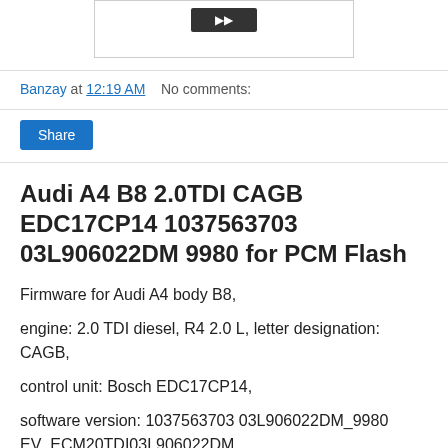[Figure (screenshot): Top portion of a blog page showing a dark button inside a white bordered box]
Banzay at 12:19 AM    No comments:
Share
Audi A4 B8 2.0TDI CAGB EDC17CP14 1037563703 03L906022DM 9980 for PCM Flash
Firmware for Audi A4 body B8,
engine: 2.0 TDI diesel, R4 2.0 L, letter designation: CAGB,
control unit: Bosch EDC17CP14,
software version: 1037563703 03L906022DM_9980 EV_ECM20TDI03L906022DM,
in the firmware, the DPF particulate filter, EGR valve, VSA